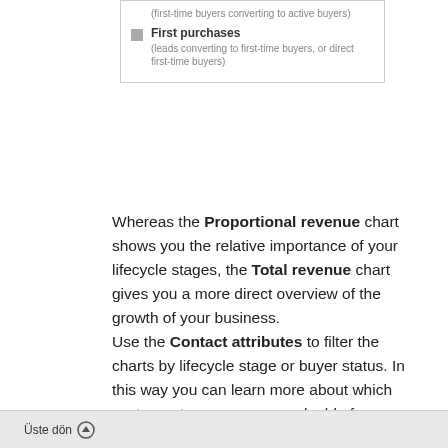(first-time buyers converting to active buyers)
First purchases (leads converting to first-time buyers, or direct first-time buyers)
Whereas the Proportional revenue chart shows you the relative importance of your lifecycle stages, the Total revenue chart gives you a more direct overview of the growth of your business.
Use the Contact attributes to filter the charts by lifecycle stage or buyer status. In this way you can learn more about which customer types are more valuable for your business and where you should be concentrating your engagement and retention efforts.
Üste dön